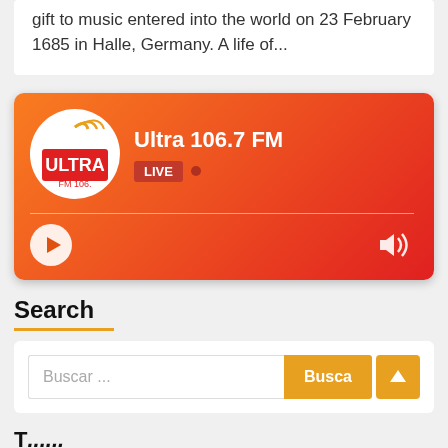gift to music entered into the world on 23 February 1685 in Halle, Germany. A life of...
[Figure (other): Ultra 106.7 FM radio player widget with orange-red gradient background, station logo, LIVE badge, play button, and volume icon]
Search
[Figure (screenshot): Search input box with placeholder 'Buscar ...' and orange 'Buscar' button, with an orange scroll-to-top arrow button]
T... (truncated)